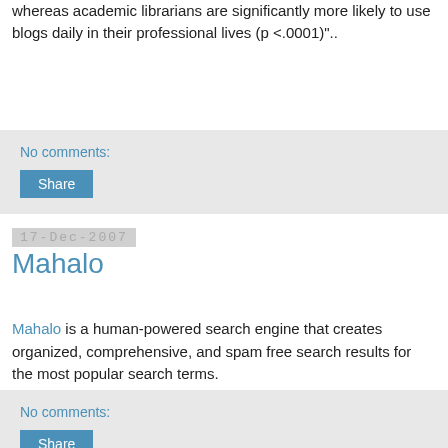whereas academic librarians are significantly more likely to use blogs daily in their professional lives (p &lt;.0001)"..
No comments:
Share
17-Dec-2007
Mahalo
Mahalo is a human-powered search engine that creates organized, comprehensive, and spam free search results for the most popular search terms.
No comments:
Share